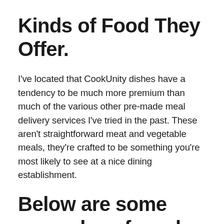Kinds of Food They Offer.
I've located that CookUnity dishes have a tendency to be much more premium than much of the various other pre-made meal delivery services I've tried in the past. These aren't straightforward meat and vegetable meals, they're crafted to be something you're most likely to see at a nice dining establishment.
Below are some examples of meals we've seen on the menu in the past to